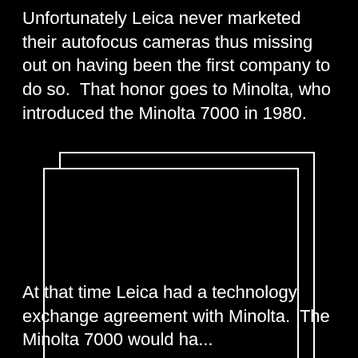Unfortunately Leica never marketed their autofocus cameras thus missing out on having been the first company to do so.  That honor goes to Minolta, who introduced the Minolta 7000 in 1980.
[Figure (photo): A placeholder image (broken image icon) within a double white-bordered rectangular frame on a black background, representing an image of the Minolta 7000 camera.]
At that time Leica had a technology exchange agreement with Minolta.  The Minolta 7000 would ha...